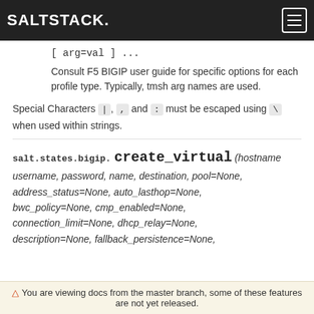SALTSTACK
[ arg=val ] ...
Consult F5 BIGIP user guide for specific options for each profile type. Typically, tmsh arg names are used.
Special Characters |, , and : must be escaped using \ when used within strings.
salt.states.bigip. create_virtual (hostname, username, password, name, destination, pool=None, address_status=None, auto_lasthop=None, bwc_policy=None, cmp_enabled=None, connection_limit=None, dhcp_relay=None, description=None, fallback_persistence=None,
⚠ You are viewing docs from the master branch, some of these features are not yet released.